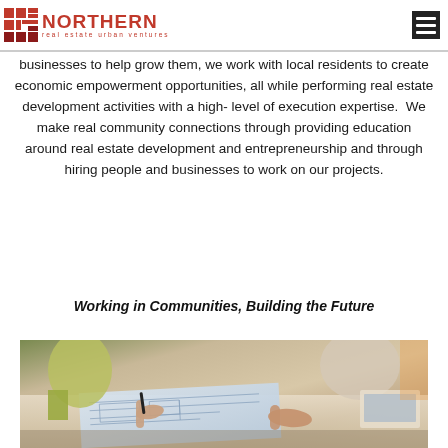Northern Real Estate Urban Ventures
businesses to help grow them, we work with local residents to create economic empowerment opportunities, all while performing real estate development activities with a high-level of execution expertise.  We make real community connections through providing education around real estate development and entrepreneurship and through hiring people and businesses to work on our projects.
Working in Communities, Building the Future
[Figure (photo): Photo of people reviewing architectural blueprints or plans on a table, hands visible pointing at documents, collaborative work scene]